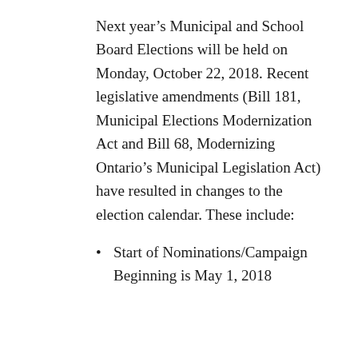Next year's Municipal and School Board Elections will be held on Monday, October 22, 2018. Recent legislative amendments (Bill 181, Municipal Elections Modernization Act and Bill 68, Modernizing Ontario's Municipal Legislation Act) have resulted in changes to the election calendar. These include:
Start of Nominations/Campaign Beginning is May 1, 2018